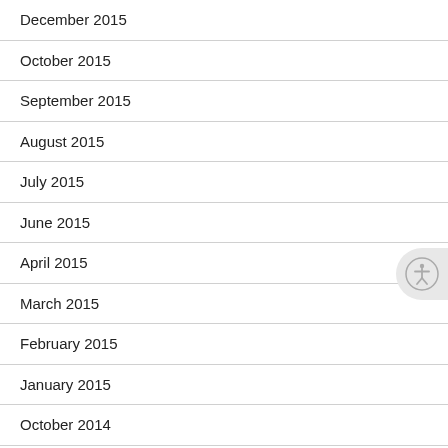December 2015
October 2015
September 2015
August 2015
July 2015
June 2015
April 2015
March 2015
February 2015
January 2015
October 2014
August 2014
July 2014